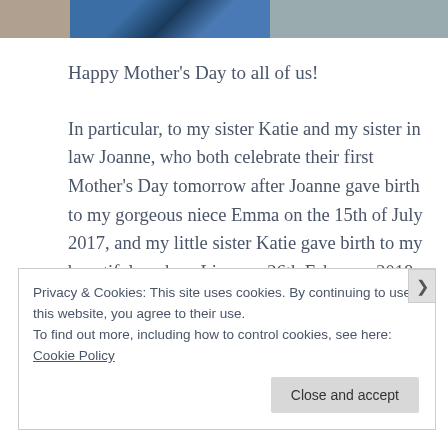[Figure (photo): Partial view of two photos at the top of the page: a brownish/tan image on the left and a blue-toned bird or figure in the center-right.]
Happy Mother's Day to all of us!
In particular, to my sister Katie and my sister in law Joanne, who both celebrate their first Mother's Day tomorrow after Joanne gave birth to my gorgeous niece Emma on the 15th of July 2017, and my little sister Katie gave birth to my beautiful nephew Liam on 26th February 2018. Welcome to the world Emma
Privacy & Cookies: This site uses cookies. By continuing to use this website, you agree to their use.
To find out more, including how to control cookies, see here: Cookie Policy
Close and accept